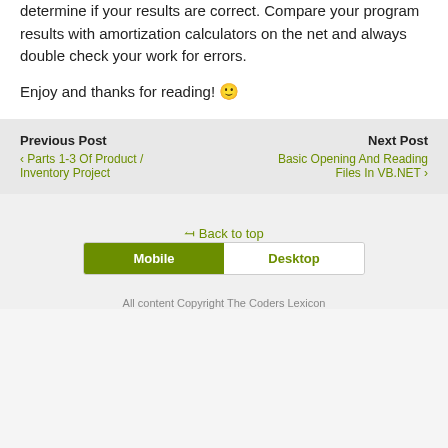determine if your results are correct. Compare your program results with amortization calculators on the net and always double check your work for errors.
Enjoy and thanks for reading! 🙂
Previous Post
‹ Parts 1-3 Of Product / Inventory Project
Next Post
Basic Opening And Reading Files In VB.NET ›
⇑ Back to top
Mobile | Desktop
All content Copyright The Coders Lexicon